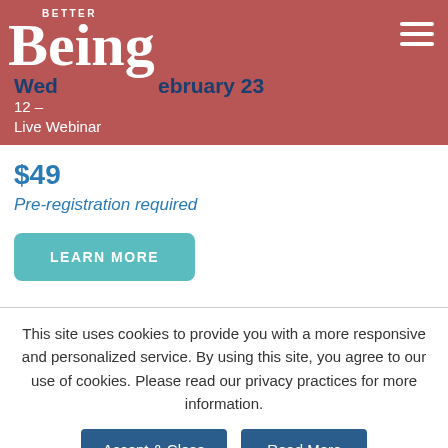Better Being
Wednesday, February 23
12 – ...
Live Webinar
$49
Pre-registration required
LEARN MORE
This site uses cookies to provide you with a more responsive and personalized service. By using this site, you agree to our use of cookies. Please read our privacy practices for more information.
Accept & Close
Read More